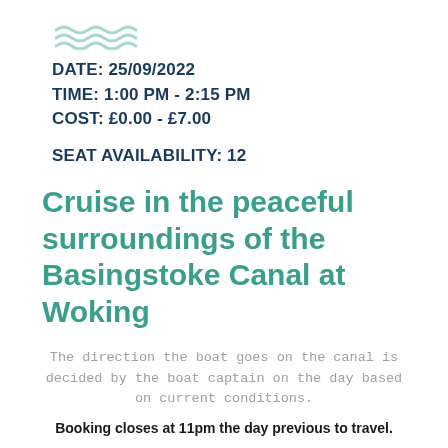[Figure (illustration): Teal wave/water decorative icon with three wavy lines]
DATE: 25/09/2022
TIME: 1:00 PM - 2:15 PM
COST: £0.00 - £7.00
SEAT AVAILABILITY: 12
Cruise in the peaceful surroundings of the Basingstoke Canal at Woking
The direction the boat goes on the canal is decided by the boat captain on the day based on current conditions.
Booking closes at 11pm the day previous to travel.